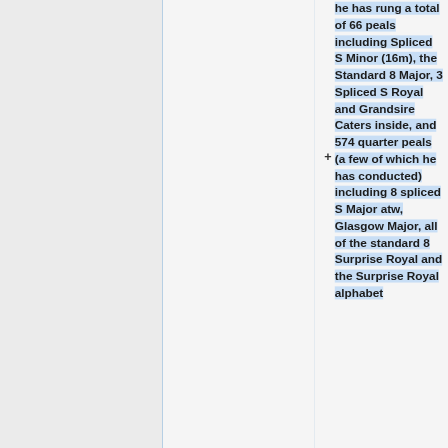he has rung a total of 66 peals including Spliced S Minor (16m), the Standard 8 Major, 3 Spliced S Royal and Grandsire Caters inside, and 574 quarter peals (a few of which he has conducted) including 8 spliced S Major atw, Glasgow Major, all of the standard 8 Surprise Royal and the Surprise Royal alphabet